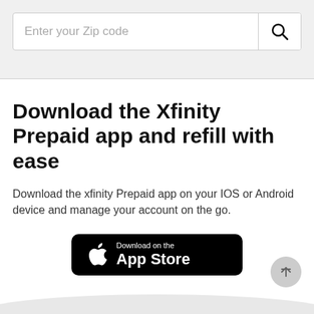[Figure (screenshot): Search input field with placeholder 'Enter your Zip code' and a search icon button on the right, on a light gray background]
Download the Xfinity Prepaid app and refill with ease
Download the xfinity Prepaid app on your IOS or Android device and manage your account on the go.
[Figure (logo): Download on the App Store black badge with Apple logo]